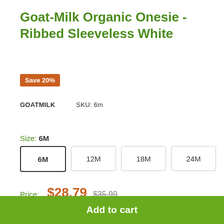Goat-Milk Organic Onesie - Ribbed Sleeveless White
Save 20%
GOATMILK    SKU: 6m
Size: 6M
6M  12M  18M  24M
Price: $28.79  $35.99
Quantity: 1
Add to cart